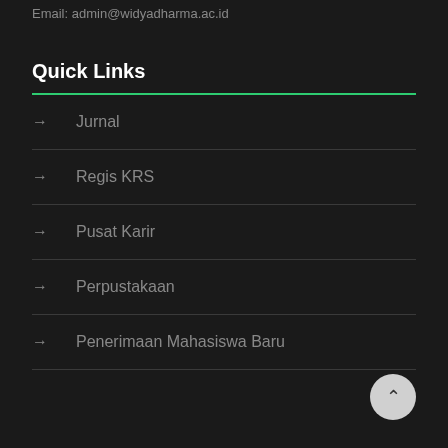Email: admin@widyadharma.ac.id
Quick Links
→ Jurnal
→ Regis KRS
→ Pusat Karir
→ Perpustakaan
→ Penerimaan Mahasiswa Baru